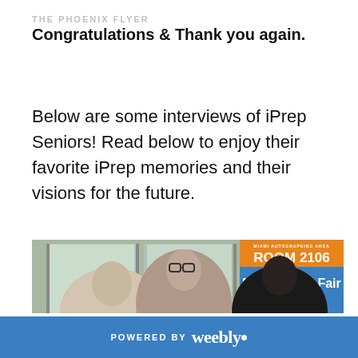THE PHOENIX FLYER
Congratulations & Thank you again.
Below are some interviews of iPrep Seniors! Read below to enjoy their favorite iPrep memories and their visions for the future.
[Figure (photo): Photo of students at the Miami Book Fair, Miami Dade College. A banner reads 'ROOM 2106' in orange and 'Miami Book Fair' on a blue background. Several students visible in the foreground.]
POWERED BY weebly